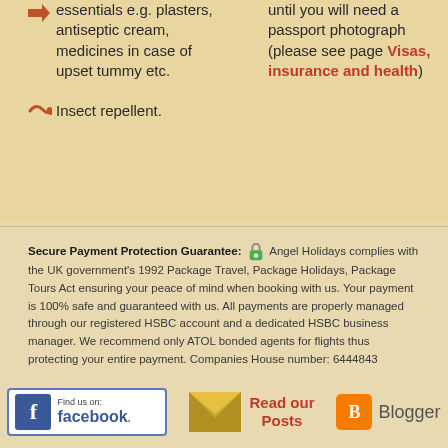essentials e.g. plasters, antiseptic cream, medicines in case of upset tummy etc.
until you will need a passport photograph (please see page Visas, insurance and health)
Insect repellent.
Secure Payment Protection Guarantee: Angel Holidays complies with the UK government's 1992 Package Travel, Package Holidays, Package Tours Act ensuring your peace of mind when booking with us. Your payment is 100% safe and guaranteed with us. All payments are properly managed through our registered HSBC account and a dedicated HSBC business manager. We recommend only ATOL bonded agents for flights thus protecting your entire payment. Companies House number: 6444843
[Figure (logo): Facebook Find us on facebook badge]
[Figure (logo): Email envelope icon with Read our Posts text]
[Figure (logo): Blogger orange logo badge]